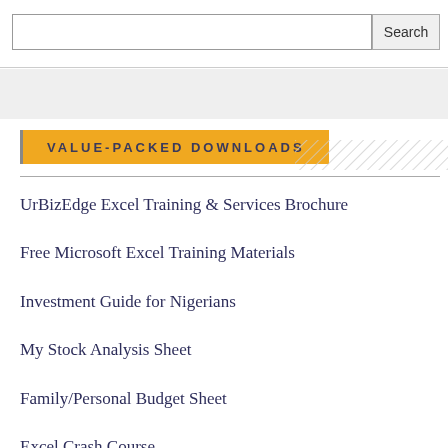Search
VALUE-PACKED DOWNLOADS
UrBizEdge Excel Training & Services Brochure
Free Microsoft Excel Training Materials
Investment Guide for Nigerians
My Stock Analysis Sheet
Family/Personal Budget Sheet
Excel Crash Course
Loan Repayment Calculator for Nigerians – Variable Principal